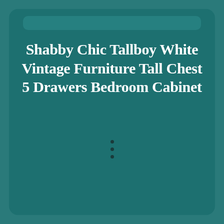Shabby Chic Tallboy White Vintage Furniture Tall Chest 5 Drawers Bedroom Cabinet
[Figure (photo): Partial photo of a wooden furniture piece (tallboy/chest of drawers) with a watermark reading 'UniqueHomeFurniture' visible across the image. Only the top portion of the furniture is visible.]